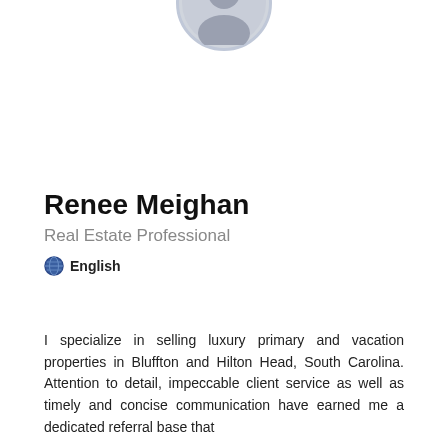[Figure (photo): Circular profile photo placeholder at the top of the page, partially cropped at the top edge]
Renee Meighan
Real Estate Professional
🌐 English
I specialize in selling luxury primary and vacation properties in Bluffton and Hilton Head, South Carolina. Attention to detail, impeccable client service as well as timely and concise communication have earned me a dedicated referral base that